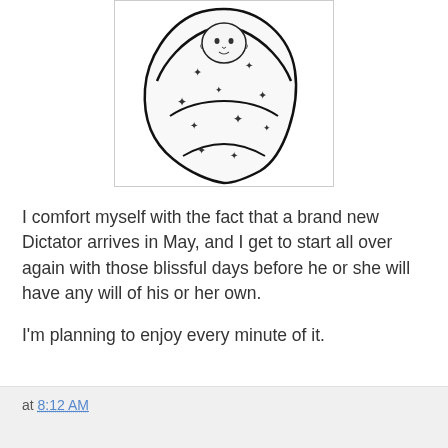[Figure (illustration): Black and white line drawing of a swaddled newborn baby wrapped in a blanket with small decorative symbols scattered around]
I comfort myself with the fact that a brand new Dictator arrives in May, and I get to start all over again with those blissful days before he or she will have any will of his or her own.
I'm planning to enjoy every minute of it.
at 8:12 AM